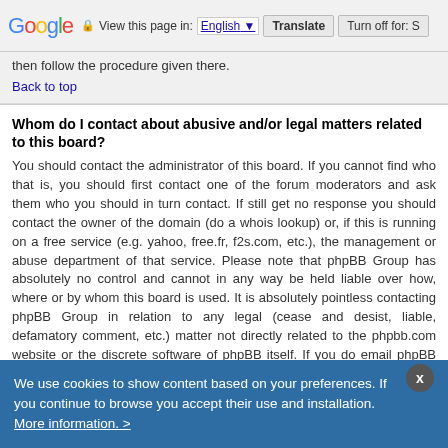Google — View this page in: English [▼] Translate Turn off for: S
then follow the procedure given there.
Back to top
Whom do I contact about abusive and/or legal matters related to this board?
You should contact the administrator of this board. If you cannot find who that is, you should first contact one of the forum moderators and ask them who you should in turn contact. If still get no response you should contact the owner of the domain (do a whois lookup) or, if this is running on a free service (e.g. yahoo, free.fr, f2s.com, etc.), the management or abuse department of that service. Please note that phpBB Group has absolutely no control and cannot in any way be held liable over how, where or by whom this board is used. It is absolutely pointless contacting phpBB Group in relation to any legal (cease and desist, liable, defamatory comment, etc.) matter not directly related to the phpbb.com website or the discrete software of phpBB itself. If you do email phpBB Group about any third party use of this software then you should expect a terse response or no response at all.
Back to top
We use cookies to show content based on your preferences. If you continue to browse you accept their use and installation. More information. >